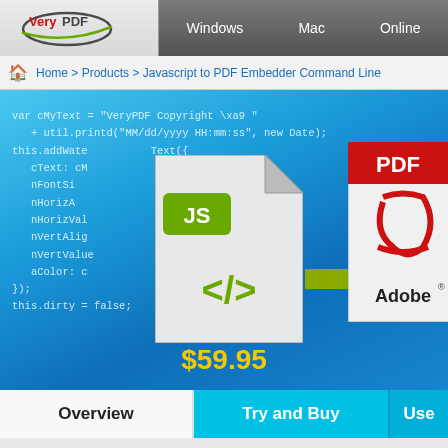VeryPDF | Windows | Mac | Online
Home > Products > Javascript to PDF Embedder Command Line
[Figure (screenshot): VeryPDF product page showing JavaScript to PDF Embedder Command Line tool. Blue background with code snippet overlay, JS file icon converting to PDF icon with arrow, price $59.95]
$59.95
Overview | Try and Buy | Use